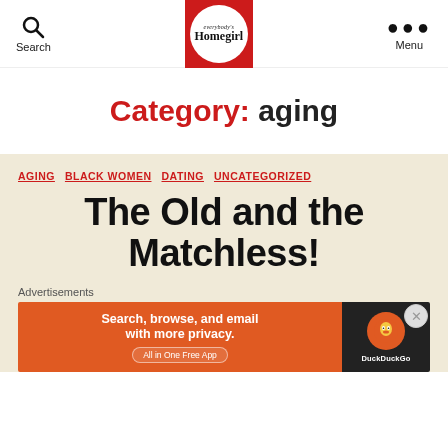Search | Everybody's Homegirl | Menu
Category: aging
AGING  BLACK WOMEN  DATING  UNCATEGORIZED
The Old and the Matchless!
Advertisements
[Figure (screenshot): DuckDuckGo advertisement banner: Search, browse, and email with more privacy. All in One Free App.]